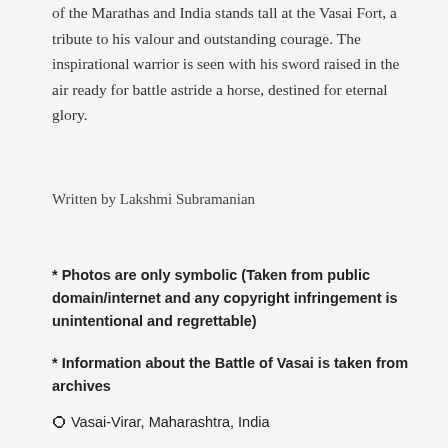of the Marathas and India stands tall at the Vasai Fort, a tribute to his valour and outstanding courage. The inspirational warrior is seen with his sword raised in the air ready for battle astride a horse, destined for eternal glory.
Written by Lakshmi Subramanian
* Photos are only symbolic (Taken from public domain/internet and any copyright infringement is unintentional and regrettable)
* Information about the Battle of Vasai is taken from archives
Vasai-Virar, Maharashtra, India